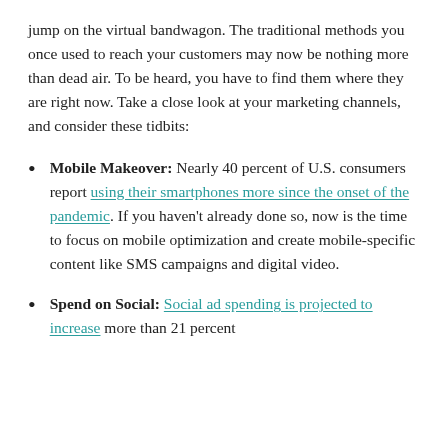jump on the virtual bandwagon. The traditional methods you once used to reach your customers may now be nothing more than dead air. To be heard, you have to find them where they are right now. Take a close look at your marketing channels, and consider these tidbits:
Mobile Makeover: Nearly 40 percent of U.S. consumers report using their smartphones more since the onset of the pandemic. If you haven't already done so, now is the time to focus on mobile optimization and create mobile-specific content like SMS campaigns and digital video.
Spend on Social: Social ad spending is projected to increase more than 21 percent